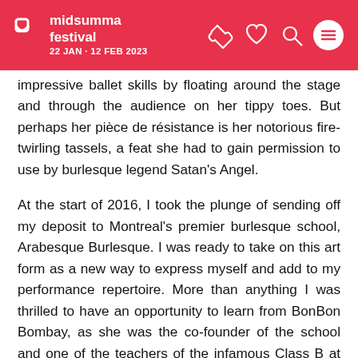midsumma festival 22 JAN · 12 FEB 2023
impressive ballet skills by floating around the stage and through the audience on her tippy toes. But perhaps her pièce de résistance is her notorious fire-twirling tassels, a feat she had to gain permission to use by burlesque legend Satan's Angel.
At the start of 2016, I took the plunge of sending off my deposit to Montreal's premier burlesque school, Arabesque Burlesque. I was ready to take on this art form as a new way to express myself and add to my performance repertoire. More than anything I was thrilled to have an opportunity to learn from BonBon Bombay, as she was the co-founder of the school and one of the teachers of the infamous Class B at the time.
Since taking classes with BonBon, I've performed in